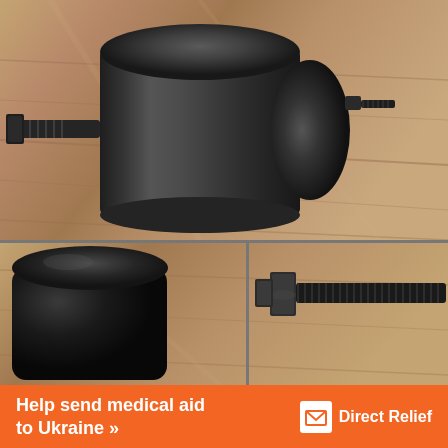[Figure (photo): Two photos of metal mechanical parts (cylindrical rubber/metal mounts with threaded bolts) placed on a wood-grain surface. Top photo shows the assembled part from an angle; bottom-left shows a close-up of the rubber cylinder end; bottom-right shows the threaded rod/nut detail.]
Help send medical aid to Ukraine >> Direct Relief